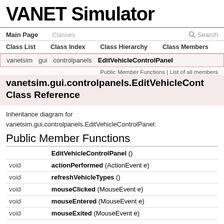VANET Simulator
Main Page   Classes   Search
Class List   Class Index   Class Hierarchy   Class Members
vanetsim   gui   controlpanels   EditVehicleControlPanel
Public Member Functions | List of all members
vanetsim.gui.controlpanels.EditVehicleControlPanel Class Reference
Inheritance diagram for vanetsim.gui.controlpanels.EditVehicleControlPanel:
Public Member Functions
|  |  |
| --- | --- |
|  | EditVehicleControlPanel () |
| void | actionPerformed (ActionEvent e) |
| void | refreshVehicleTypes () |
| void | mouseClicked (MouseEvent e) |
| void | mouseEntered (MouseEvent e) |
| void | mouseExited (MouseEvent e) |